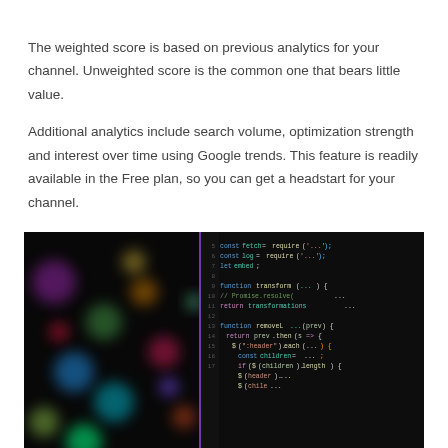The weighted score is based on previous analytics for your channel. Unweighted score is the common one that bears little value.
Additional analytics include search volume, optimization strength and interest over time using Google trends. This feature is readily available in the Free plan, so you can get a headstart for your channel.
[Figure (photo): A photo of a computer screen displaying colorful syntax-highlighted JavaScript code in a dark editor, with blurred bokeh lights on the left side.]